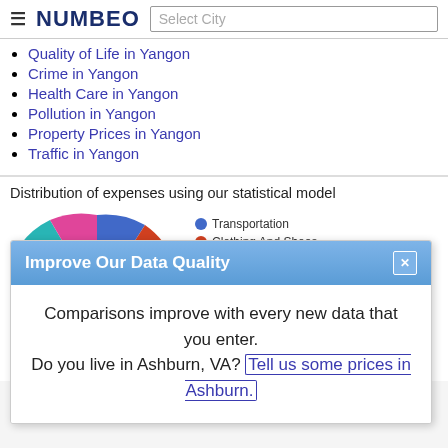NUMBEO | Select City
Quality of Life in Yangon
Crime in Yangon
Health Care in Yangon
Pollution in Yangon
Property Prices in Yangon
Traffic in Yangon
[Figure (pie-chart): Pie chart partially visible, showing segments including Transportation (blue, 8.1%), Clothing And Shoes (red, 8.1%), pink and teal segments also visible]
Improve Our Data Quality
Comparisons improve with every new data that you enter.
Do you live in Ashburn, VA? Tell us some prices in Ashburn.